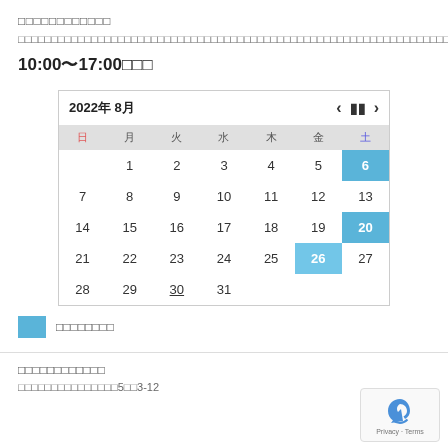□□□□□□□□□□□□
□□□□□□□□□□□□□□□□□□□□□□□□□□□□□□□□□□□□□□□□□□□□□□□□□□□□□□□□□□□□□□□□□□□□□□□□□□□□□□□□□□□□□□□□□□□□□□□□□□□□□□□□□□□□□□
10:00〜17:00□□□
[Figure (other): Calendar widget showing August 2022 with dates 6, 20, 26 highlighted in blue]
□□□□□□□□
□□□□□□□□□□□□
□□□□□□□□□□□□□□□5□□3-12